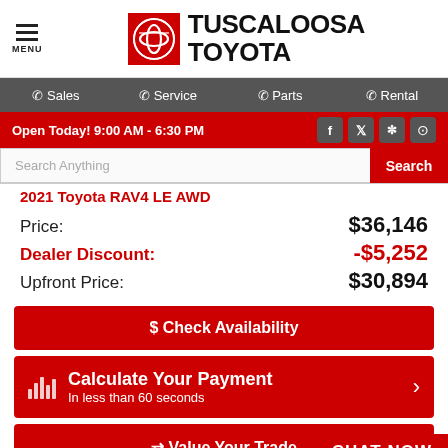MENU | TUSCALOOSA TOYOTA
Sales | Service | Parts | Rental
Open Today! 9:00 AM - 6:30 PM
Search Anything | Search
Price: $36,146
Dealer Discount: -$5,252
Upfront Price: $30,894
$ Check Availability
Calculate Your Payment
In less than 60 seconds
Value Your Trade
CHAT NOW